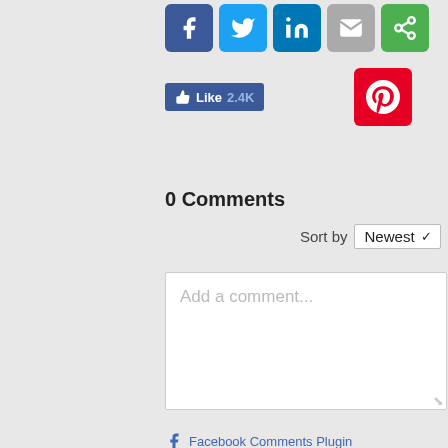[Figure (other): Social share buttons row: Facebook (blue), Twitter (blue), LinkedIn (blue), Email (gray), Share (green)]
[Figure (other): Facebook Like button showing 2.4K likes, and Pinterest button (red)]
0 Comments
Sort by Newest
[Figure (other): Comment text area input box with placeholder text 'Add a comment...']
Facebook Comments Plugin
YEARLY SUBSCRIPTION ONLY $9.99
[Figure (illustration): Partial price tag illustration in gold/yellow with a dark blue string/loop at top right]